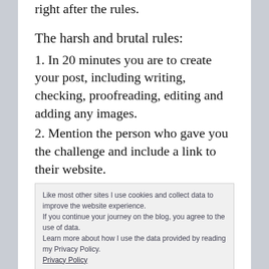right after the rules.
The harsh and brutal rules:
1. In 20 minutes you are to create your post, including writing, checking, proofreading, editing and adding any images.
2. Mention the person who gave you the challenge and include a link to their website.
Like most other sites I use cookies and collect data to improve the website experience.
If you continue your journey on the blog, you agree to the use of data.
Learn more about how I use the data provided by reading my Privacy Policy.
Privacy Policy
I have read the policy and accept
links to their website.